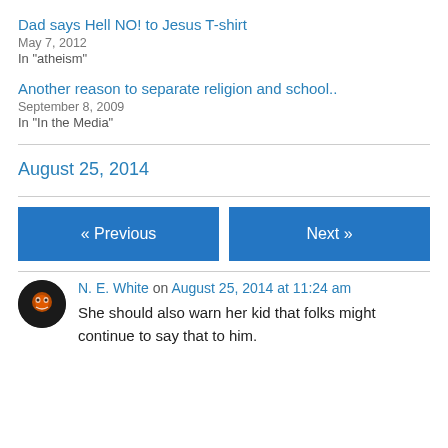Dad says Hell NO! to Jesus T-shirt
May 7, 2012
In "atheism"
Another reason to separate religion and school..
September 8, 2009
In "In the Media"
August 25, 2014
« Previous
Next »
N. E. White on August 25, 2014 at 11:24 am
She should also warn her kid that folks might continue to say that to him.